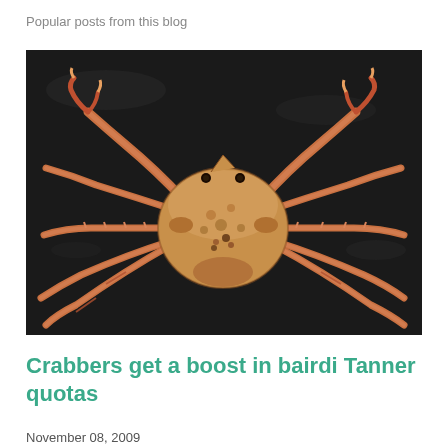Popular posts from this blog
[Figure (photo): A Tanner crab (bairdi) photographed from above on a dark wet surface, showing its full body with spread legs and claws against a black background.]
Crabbers get a boost in bairdi Tanner quotas
November 08, 2009